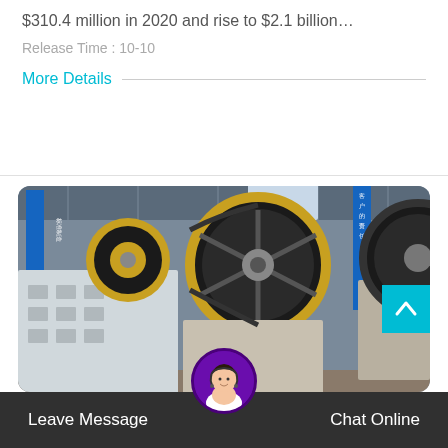$310.4 million in 2020 and rise to $2.1 billion…
Release Time : 10-10
More Details —
[Figure (photo): Industrial jaw crusher machines with large black and gold/yellow flywheel pulleys in a factory warehouse setting. Chinese banners visible in background.]
Leave Message
Chat Online